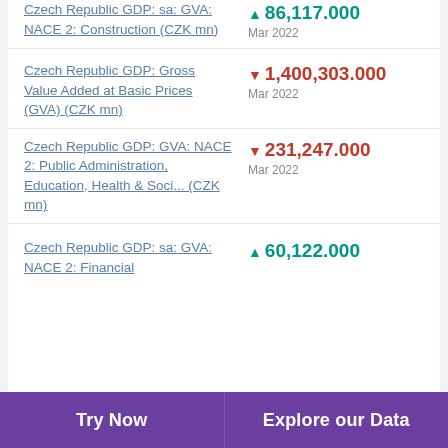Czech Republic GDP: sa: GVA: NACE 2: Construction (CZK mn) ▲ 86,117.000 Mar 2022
Czech Republic GDP: Gross Value Added at Basic Prices (GVA) (CZK mn) ▼ 1,400,303.000 Mar 2022
Czech Republic GDP: GVA: NACE 2: Public Administration, Education, Health & Soci... (CZK mn) ▼ 231,247.000 Mar 2022
Czech Republic GDP: sa: GVA: NACE 2: Financial ▲ 60,122.000
Try Now  Explore our Data